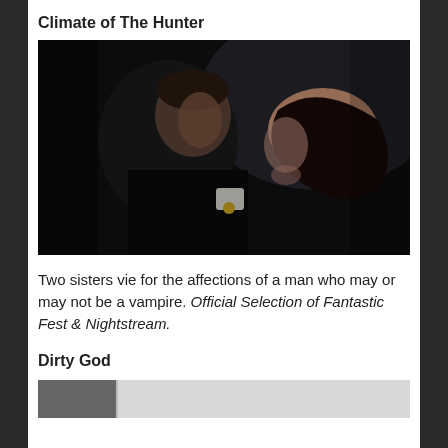Climate of The Hunter
[Figure (photo): A dark cinematic still showing a man grabbing a woman by the hair in an intimate/threatening close-up scene. The image is dark and moody with dramatic lighting.]
Two sisters vie for the affections of a man who may or may not be a vampire. Official Selection of Fantastic Fest & Nightstream.
Dirty God
[Figure (photo): Partially visible bottom strip of a photo, showing two panels — a dark left section and a lighter right section.]